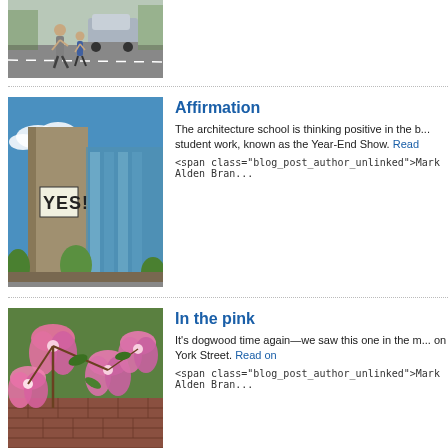[Figure (photo): Two people running in a parking lot, a car in background]
[Figure (photo): Architecture school building exterior with 'YES!' sign on concrete tower, blue sky and trees]
Affirmation
The architecture school is thinking positive in the b... student work, known as the Year-End Show. Read on
<span class="blog_post_author_unlinked">Mark Alden Bran...
[Figure (photo): Pink dogwood flowers in bloom with brick building in background]
In the pink
It's dogwood time again—we saw this one in the m... on York Street. Read on
<span class="blog_post_author_unlinked">Mark Alden Bran...